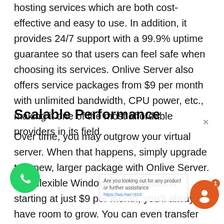hosting services which are both cost-effective and easy to use. In addition, it provides 24/7 support with a 99.9% uptime guarantee so that users can feel safe when choosing its services. Onlive Server also offers service packages from $9 per month with unlimited bandwidth, CPU power, etc., making it one of the most affordable providers in its field.
Scalable Performance
Over time, you may outgrow your virtual server. When that happens, simply upgrade to a new, larger package with Onlive Server. With flexible Windows VPS solutions starting at just $9 per month, you'll always have room to grow. You can even transfer your existing data into our secure servers. Let us worry about storage while you focus on running your